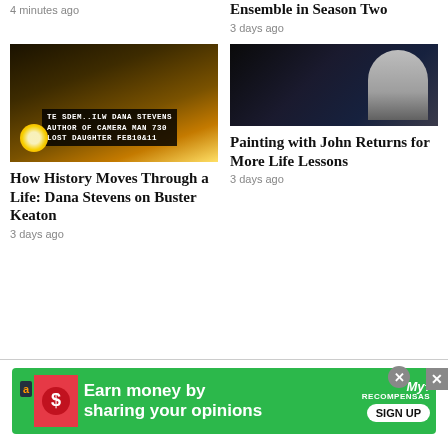4 minutes ago
Ensemble in Season Two
3 days ago
[Figure (photo): Theater marquee at night showing Dana Stevens and Buster Keaton references]
[Figure (photo): Man with white beard in dark room, painting scene]
Painting with John Returns for More Life Lessons
3 days ago
How History Moves Through a Life: Dana Stevens on Buster Keaton
3 days ago
[Figure (screenshot): Green advertisement banner: Earn money by sharing your opinions - Amazon/MyRecompensas sign up ad]